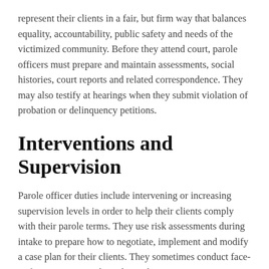represent their clients in a fair, but firm way that balances equality, accountability, public safety and needs of the victimized community. Before they attend court, parole officers must prepare and maintain assessments, social histories, court reports and related correspondence. They may also testify at hearings when they submit violation of probation or delinquency petitions.
Interventions and Supervision
Parole officer duties include intervening or increasing supervision levels in order to help their clients comply with their parole terms. They use risk assessments during intake to prepare how to negotiate, implement and modify a case plan for their clients. They sometimes conduct face-to-face meetings in their client's homes or various community-based settings. After court proceedings, they initiate a face-to-face meeting with the parolee and their family members to review the court order, answer questions and establish